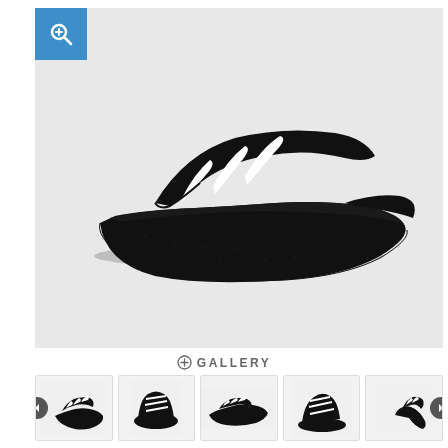[Figure (photo): Adidas Adilette Aqua slide sandal in black with three white stripes on the upper strap, side profile view, on light grey background]
⊕ GALLERY
[Figure (photo): Thumbnail 1: Adidas slide sandal, angled side view showing three stripes]
[Figure (photo): Thumbnail 2: Adidas slide sandal, front/top view]
[Figure (photo): Thumbnail 3: Adidas slide sandal, flat side profile]
[Figure (photo): Thumbnail 4: Adidas slide sandal, slight angle top view]
[Figure (photo): Thumbnail 5: Adidas slide sandal, rear angled view]